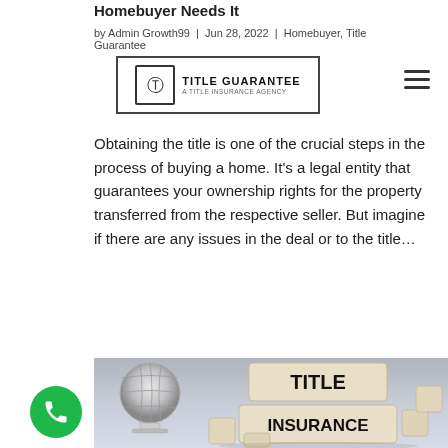Homebuyer Needs It
by Admin Growth99 | Jun 28, 2022 | Homebuyer, Title Guarantee
[Figure (logo): Title Guarantee - A Title Insurance Agency logo with TG monogram in a bordered box]
Obtaining the title is one of the crucial steps in the process of buying a home. It's a legal entity that guarantees your ownership rights for the property transferred from the respective seller. But imagine if there are any issues in the deal or to the title…
[Figure (photo): Wooden blocks spelling TITLE INSURANCE stacked, with a metallic puzzle globe in the background on a light grey surface]